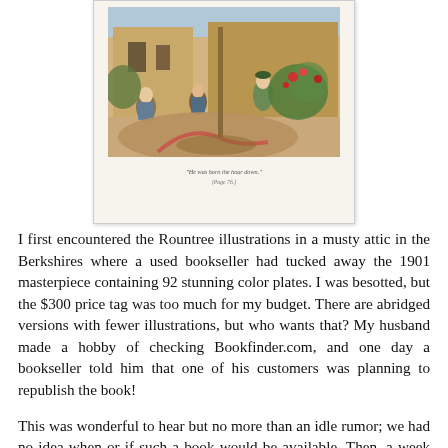[Figure (illustration): A book page shown as a framed illustration depicting a colorful painting of people working in a garden or courtyard scene with figures, plants, and a building in the background. Below the painting is an italic caption in small text reading approximately 'He was born the hour down.' with a page reference.]
I first encountered the Rountree illustrations in a musty attic in the Berkshires where a used bookseller had tucked away the 1901 masterpiece containing 92 stunning color plates. I was besotted, but the $300 price tag was too much for my budget. There are abridged versions with fewer illustrations, but who wants that? My husband made a hobby of checking Bookfinder.com, and one day a bookseller told him that one of his customers was planning to republish the book!
This was wonderful to hear but no more than an idle rumor; we had no idea when or if such a book would be available. Then, a week ago, in the weekly newsletter from Dover